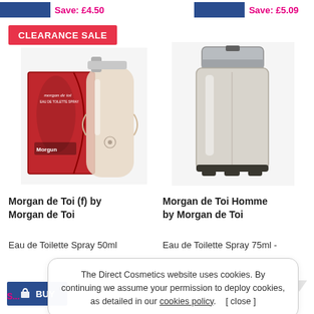Save: £4.50
Save: £5.09
CLEARANCE SALE
[Figure (photo): Morgan de Toi (f) perfume bottle with red box packaging and glass spray bottle]
[Figure (photo): Morgan de Toi Homme perfume bottle, rectangular glass bottle with silver cap]
Morgan de Toi (f) by Morgan de Toi
Morgan de Toi Homme by Morgan de Toi
Eau de Toilette Spray 50ml
Eau de Toilette Spray 75ml -
BUY
The Direct Cosmetics website uses cookies. By continuing we assume your permission to deploy cookies, as detailed in our cookies policy.    [ close ]